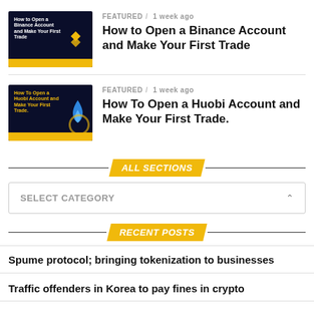[Figure (screenshot): Thumbnail for Binance article — dark blue background with yellow Binance logo and white text 'How to Open a Binance Account and Make Your First Trade']
FEATURED / 1 week ago
How to Open a Binance Account and Make Your First Trade
[Figure (screenshot): Thumbnail for Huobi article — dark blue background with blue Huobi flame logo and yellow text 'How To Open a Huobi Account and Make Your First Trade.']
FEATURED / 1 week ago
How To Open a Huobi Account and Make Your First Trade.
ALL SECTIONS
SELECT CATEGORY
RECENT POSTS
Spume protocol; bringing tokenization to businesses
Traffic offenders in Korea to pay fines in crypto